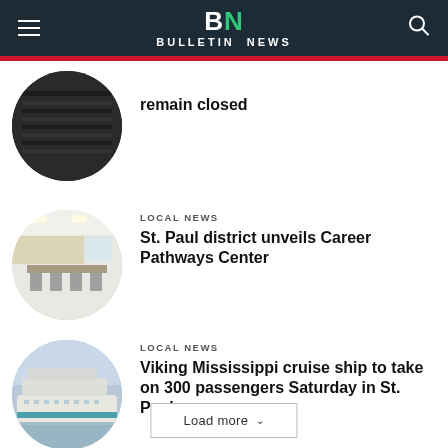BN BULLETIN NEWS
[Figure (photo): Circular thumbnail of a dark auditorium or theater interior]
remain closed
[Figure (photo): Circular thumbnail of a conference room or classroom with tables and chairs]
LOCAL NEWS
St. Paul district unveils Career Pathways Center
[Figure (photo): Circular thumbnail of the Viking Mississippi cruise ship docked]
LOCAL NEWS
Viking Mississippi cruise ship to take on 300 passengers Saturday in St. Paul
Load more